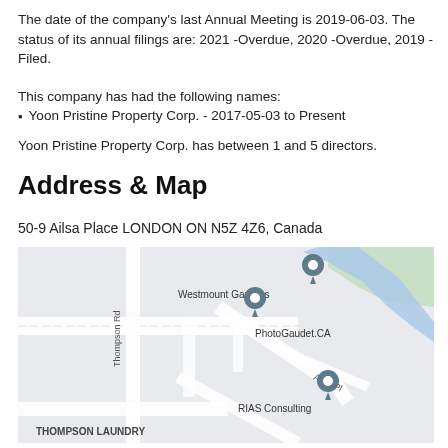The date of the company's last Annual Meeting is 2019-06-03. The status of its annual filings are: 2021 -Overdue, 2020 -Overdue, 2019 -Filed.
This company has had the following names:
Yoon Pristine Property Corp. - 2017-05-03 to Present
Yoon Pristine Property Corp. has between 1 and 5 directors.
Address & Map
50-9 Ailsa Place LONDON ON N5Z 4Z6, Canada
[Figure (map): Google Maps screenshot showing the area around 50-9 Ailsa Place, London ON. Shows streets including Thompson Rd, Pond Mills Rd, Ailsa Pl. Location markers for Westmount Gardens, PhotoGaudet.CA, and RIAS Consulting are visible. A river/creek runs through the map.]